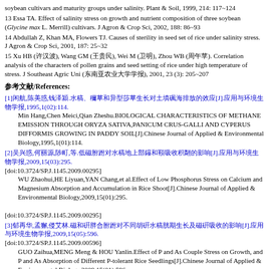soybean cultivars and maturity groups under salinity. Plant & Soil, 1999, 214: 117~124
13 Essa TA. Effect of salinity stress on growth and nutrient composition of three soybean (Glycine max L. Merrill) cultivars. J Agron & Crop Sci, 2002, 188: 86~93
14 Abdullah Z, Khan MA, Flowers TJ. Causes of sterility in seed set of rice under salinity stress. J Agron & Crop Sci, 2001, 187: 25~32
15 Xu HB (许汉波), Wang GM (王贵民), Wei M (卫明), Zhou WB (周午苞). Correlation analysis of the characters of pollen grains and seed setting of rice under high temperature of stress. J Southeast Agric Uni (东南亚农业大学学报), 2001, 23 (3): 205~207
参考文献/References:
[1]闵航,陈美慈,钱泽澍.水稻、稗草和异型莎草生长对土壤甲烷排放的效应[J].应用与环境生物学报,1995,1(02):114.
   Min Hang,Chen Meici,Qian Zheshu.BIOLOGICAL CHARACTERISTICS OF METHANE EMISSION THROUGH ORYZA SATIVA,PANICUM CRUS-GALLI AND CYPERUS DIFFORMIS GROWING IN PADDY SOIL[J].Chinese Journal of Applied & Environmental Biology,1995,1(01):114.
[2]吴兆惠,何丽媛,闫畅,等.低磷胁迫对水稻地上部钙和镁吸收积累的影响[J].应用与环境生物学报,2009,15(03):295.
[doi:10.3724/SP.J.1145.2009.00295]
   WU Zhaohui,HE Liyuan,YAN Chang,et al.Effect of Low Phosphorus Stress on Calcium and Magnesium Absorption and Accumulation in Rice Shoot[J].Chinese Journal of Applied & Environmental Biology,2009,15(01):295.
[doi:10.3724/SP.J.1145.2009.00295]
[3]郭再华,孟猛,侯艳林.磷和砷耦合胁迫对不同耐砷水稻苗期生长及磷砷吸收的影响[J].应用与环境生物学报,2009,15(05):596.
[doi:10.3724/SP.J.1145.2009.00596]
   GUO Zaihua,MENG Meng & HOU Yanlin.Effect of P and As Couple Stress on Growth, and P and As Absorption of Different P-tolerant Rice Seedlings[J].Chinese Journal of Applied & Environmental Biology,2009,15(01):596.